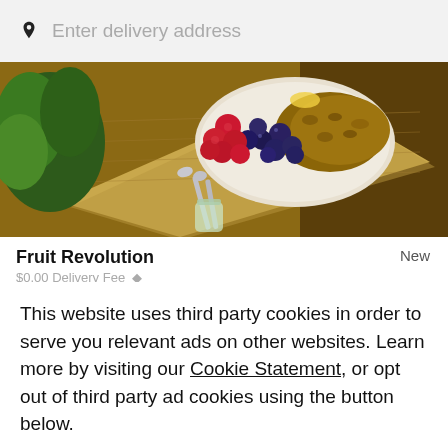Enter delivery address
[Figure (photo): Overhead photo of a bowl of granola with raspberries, blueberries, and other toppings on a wooden cutting board, with a spoon and small glass jar alongside, and green plant in background.]
Fruit Revolution
New
$0.00 Delivery Fee  ♦
This website uses third party cookies in order to serve you relevant ads on other websites. Learn more by visiting our Cookie Statement, or opt out of third party ad cookies using the button below.
Opt out
Got it